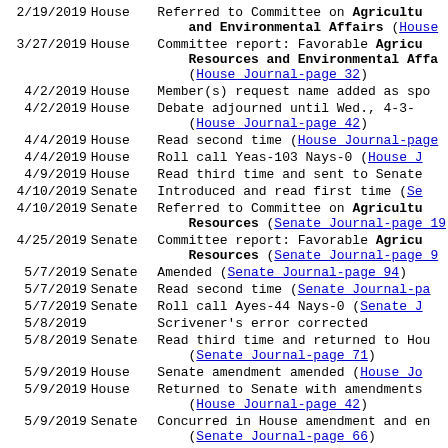| Date | Chamber | Action |
| --- | --- | --- |
| 2/19/2019 | House | Referred to Committee on Agriculture and Environmental Affairs (House Journal-page ...) |
| 3/27/2019 | House | Committee report: Favorable Agriculture Resources and Environmental Affairs (House Journal-page 32) |
| 4/2/2019 | House | Member(s) request name added as spo... |
| 4/2/2019 | House | Debate adjourned until Wed., 4-3-... (House Journal-page 42) |
| 4/4/2019 | House | Read second time (House Journal-page ...) |
| 4/4/2019 | House | Roll call Yeas-103 Nays-0 (House J...) |
| 4/9/2019 | House | Read third time and sent to Senate |
| 4/10/2019 | Senate | Introduced and read first time (Se...) |
| 4/10/2019 | Senate | Referred to Committee on Agriculture Resources (Senate Journal-page 19...) |
| 4/25/2019 | Senate | Committee report: Favorable Agriculture Resources (Senate Journal-page 9...) |
| 5/7/2019 | Senate | Amended (Senate Journal-page 94) |
| 5/7/2019 | Senate | Read second time (Senate Journal-pa...) |
| 5/7/2019 | Senate | Roll call Ayes-44 Nays-0 (Senate J...) |
| 5/8/2019 |  | Scrivener's error corrected |
| 5/8/2019 | Senate | Read third time and returned to House (Senate Journal-page 71) |
| 5/9/2019 | House | Senate amendment amended (House Jo...) |
| 5/9/2019 | House | Returned to Senate with amendments (House Journal-page 42) |
| 5/9/2019 | Senate | Concurred in House amendment and en... (Senate Journal-page 66) |
| 5/13/2019 |  | Ratified R  94 |
| 5/16/2019 |  | Signed By Governor |
| 5/31/2019 |  | Effective date  05/16/19 |